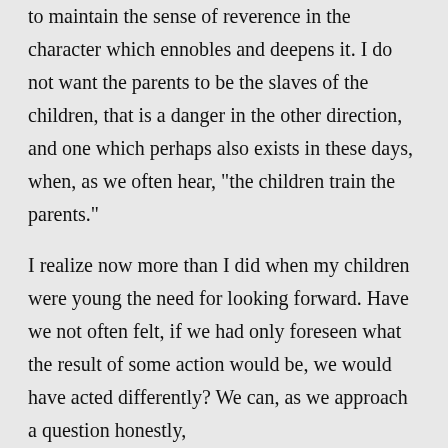to maintain the sense of reverence in the character which ennobles and deepens it. I do not want the parents to be the slaves of the children, that is a danger in the other direction, and one which perhaps also exists in these days, when, as we often hear, "the children train the parents."

I realize now more than I did when my children were young the need for looking forward. Have we not often felt, if we had only foreseen what the result of some action would be, we would have acted differently? We can, as we approach a question honestly,